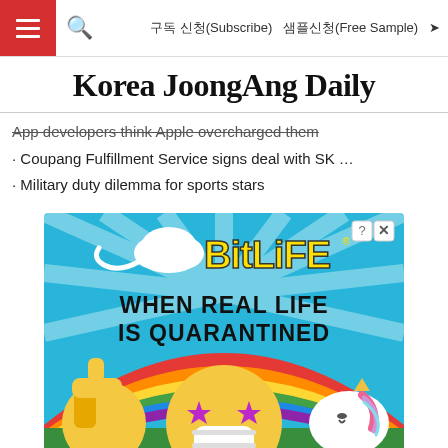구독 신청(Subscribe)  샘플신청(Free Sample)
Korea JoongAng Daily
App developers think Apple overcharged them
· Coupang Fulfillment Service signs deal with SK …
· Military duty dilemma for sports stars
[Figure (illustration): BitLife advertisement banner showing 'WHEN REAL LIFE IS QUARANTINED' text with a rainbow background, emoji face with star eyes and face mask, thumbs up emoji, and unicorn emoji]